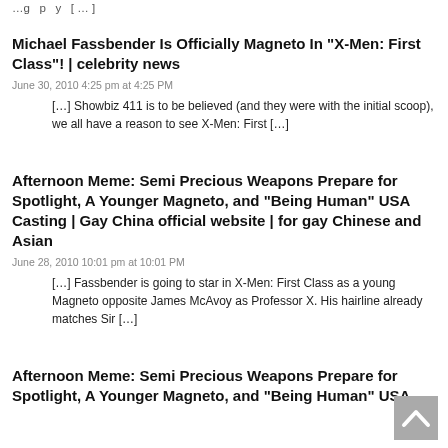…g … p … y … [ … ]
Michael Fassbender Is Officially Magneto In “X-Men: First Class”! | celebrity news
June 30, 2010 4:25 pm at 4:25 PM
[…] Showbiz 411 is to be believed (and they were with the initial scoop), we all have a reason to see X-Men: First […]
Afternoon Meme: Semi Precious Weapons Prepare for Spotlight, A Younger Magneto, and "Being Human" USA Casting | Gay China official website | for gay Chinese and Asian
June 28, 2010 10:01 pm at 10:01 PM
[…] Fassbender is going to star in X-Men: First Class as a young Magneto opposite James McAvoy as Professor X. His hairline already matches Sir […]
Afternoon Meme: Semi Precious Weapons Prepare for Spotlight, A Younger Magneto, and "Being Human" USA